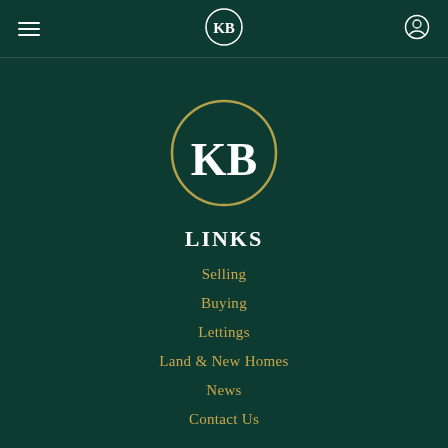[Figure (logo): KB logo with small circle at top containing KB in white text on dark green background, and larger oval/circle below with KB in serif white text, outlined in gold/olive color]
LINKS
Selling
Buying
Lettings
Land & New Homes
News
Contact Us
LEGAL